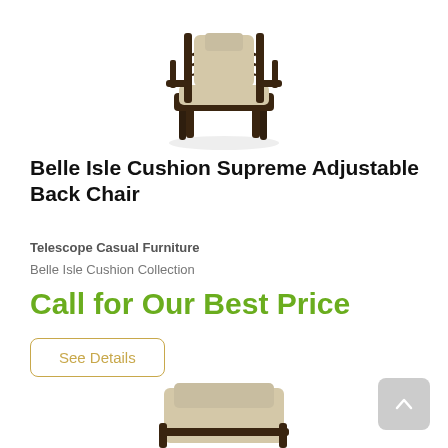[Figure (photo): Outdoor patio chair - Belle Isle Cushion Supreme Adjustable Back Chair, dark frame with beige cushion, top portion of product image]
Belle Isle Cushion Supreme Adjustable Back Chair
Telescope Casual Furniture
Belle Isle Cushion Collection
Call for Our Best Price
See Details
[Figure (photo): Outdoor patio chair - partial bottom view of similar chair, beige cushion visible, cropped at bottom of page]